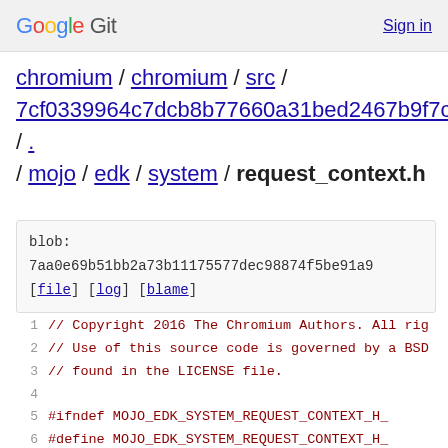Google Git  Sign in
chromium / chromium / src / 7cf0339964c7dcb8b77660a31bed2467b9f7cc3a / . / mojo / edk / system / request_context.h
blob: 7aa0e69b51bb2a73b11175577dec98874f5be91a9 [file] [log] [blame]
// Copyright 2016 The Chromium Authors. All rig
// Use of this source code is governed by a BSD
// found in the LICENSE file.

#ifndef MOJO_EDK_SYSTEM_REQUEST_CONTEXT_H_
#define MOJO_EDK_SYSTEM_REQUEST_CONTEXT_H_

#include "base/containers/stack_container.h"
#include "base/macros.h"
#include "mojo/edk/system/handle_signals_state..."